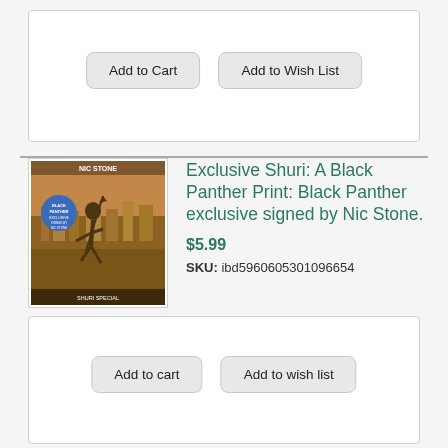[Figure (other): Add to Cart and Add to Wish List buttons inside a white rounded box]
[Figure (photo): Book cover for Shuri: A Black Panther novel by Nic Stone, showing a character running with a spear against an illustrated background, with a blue circular sticker on the cover.]
Exclusive Shuri: A Black Panther Print: Black Panther exclusive signed by Nic Stone.
$5.99
SKU: ibd5960605301096654
[Figure (other): Add to cart and Add to wish list buttons inside a white rounded box]